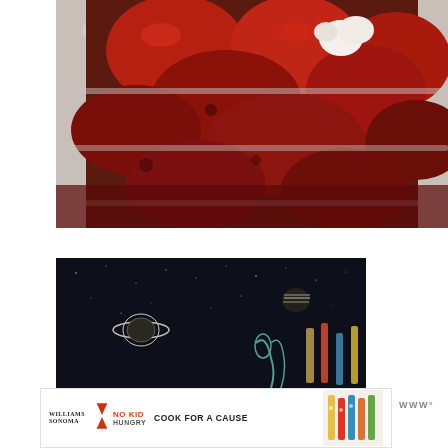[Figure (photo): Close-up photo of roasted tomatoes in a clear blender or food processor bowl, showing deep red roasted whole tomatoes with some garlic cloves visible, blender has circular ridged design]
[Figure (photo): Dark space-themed illustration/photo showing planet with rings (Saturn-like) and another planet in a dark starry background with some illustrated cooking utensils or brushes in the foreground]
[Figure (photo): Advertisement banner for Williams Sonoma and No Kid Hungry 'Cook for a Cause' campaign showing logo and colorful cooking spatulas/utensils on right side]